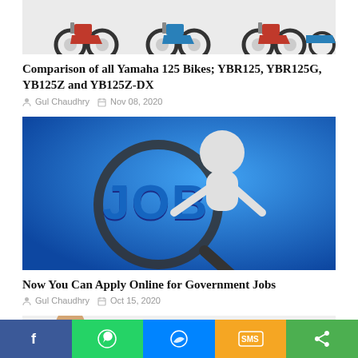[Figure (photo): Motorcycles lineup - Yamaha 125 bikes including YBR125, YBR125G, YB125Z and YB125Z-DX in red and blue colors on white background]
Comparison of all Yamaha 125 Bikes; YBR125, YBR125G, YB125Z and YB125Z-DX
Gul Chaudhry   Nov 08, 2020
[Figure (photo): 3D cartoon character holding magnifying glass over the word JOB in blue 3D letters on blue background]
Now You Can Apply Online for Government Jobs
Gul Chaudhry   Oct 15, 2020
[Figure (photo): Partially visible image with a woman and Urdu text with number 10]